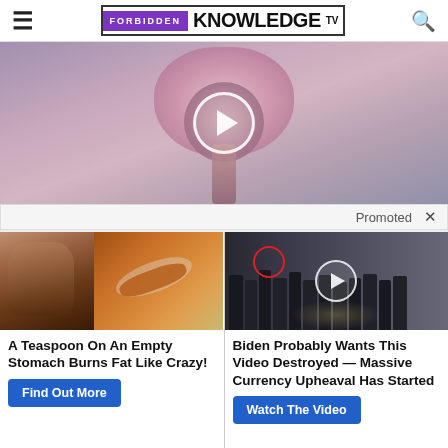Forbidden Knowledge TV
[Figure (screenshot): Medical/anatomical video thumbnail with play button circle in center, blurred pink/mauve tones]
Promoted
[Figure (photo): Woman showing abs next to spices on a spoon]
A Teaspoon On An Empty Stomach Burns Fat Like Crazy!
Find Out More
[Figure (photo): Group of men in suits at CIA headquarters with play button overlay and red circle marker]
Biden Probably Wants This Video Destroyed — Massive Currency Upheaval Has Started
Watch The Video